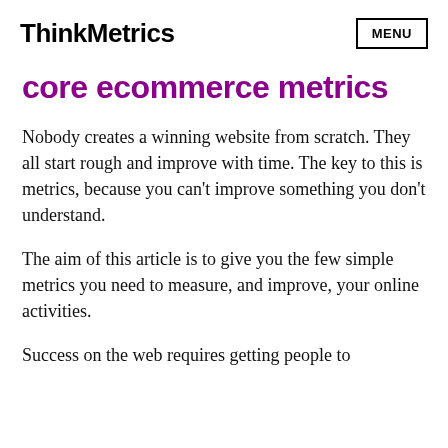ThinkMetrics   MENU
core ecommerce metrics
Nobody creates a winning website from scratch. They all start rough and improve with time. The key to this is metrics, because you can't improve something you don't understand.
The aim of this article is to give you the few simple metrics you need to measure, and improve, your online activities.
Success on the web requires getting people to